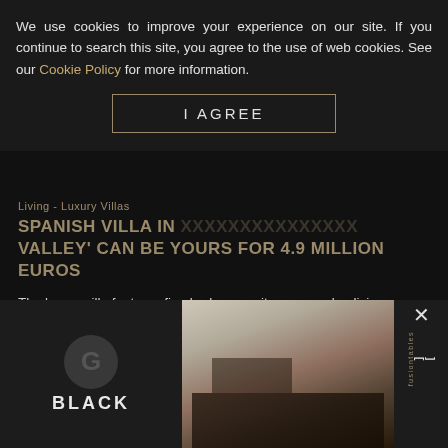We use cookies to improve your experience on our site. If you continue to search this site, you agree to the use of web cookies. See our Cookie Policy for more information.
I AGREE
Living - Luxury Villas
SPANISH VILLA IN ... VALLEY' CAN BE YOURS FOR 4.9 MILLION EUROS
The luxury villa features five-bedroom suites, open-plan living spaces, a full-service kitchen, a large outdoor pool and terrace, a jacuzzi, a sauna, a solarium, a cinema with a pr...
Living - Luxury Villas
TWICE THE SIZE OF THE WHITE HOUSE – THE ONE MEGA-VILLA O...
This am...
[Figure (screenshot): Advertisement overlay showing 'BLACK' logo on dark background with room interior photo and fusiontables branding]